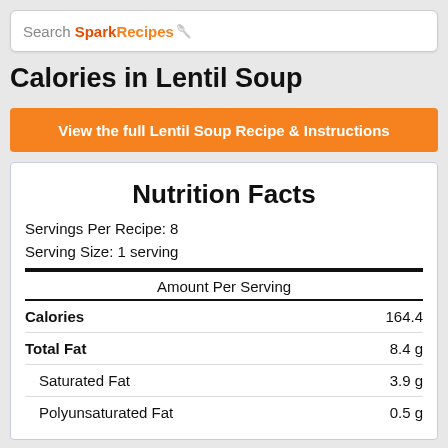Search SparkRecipes
Calories in Lentil Soup
View the full Lentil Soup Recipe & Instructions
Nutrition Facts
Servings Per Recipe: 8
Serving Size: 1 serving
Amount Per Serving
| Nutrient | Amount |
| --- | --- |
| Calories | 164.4 |
| Total Fat | 8.4 g |
| Saturated Fat | 3.9 g |
| Polyunsaturated Fat | 0.5 g |